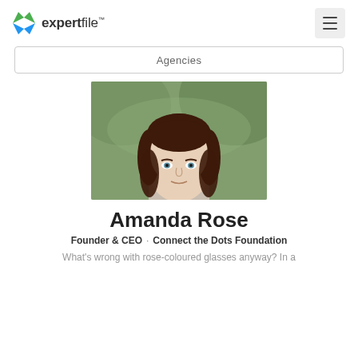expertfile
Agencies
[Figure (photo): Professional headshot photo of Amanda Rose, a woman with long dark brown hair and blue eyes, photographed outdoors with a blurred green background, wearing a light-colored top]
Amanda Rose
Founder & CEO · Connect the Dots Foundation
What's wrong with rose-coloured glasses anyway? In a